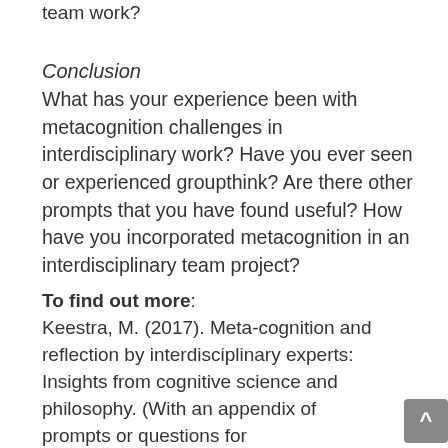team work?
Conclusion
What has your experience been with metacognition challenges in interdisciplinary work? Have you ever seen or experienced groupthink? Are there other prompts that you have found useful? How have you incorporated metacognition in an interdisciplinary team project?
To find out more: Keestra, M. (2017). Meta-cognition and reflection by interdisciplinary experts: Insights from cognitive science and philosophy. (With an appendix of prompts or questions for